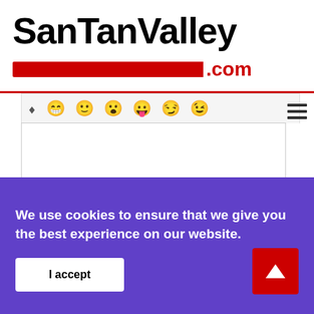[Figure (logo): SanTanValley.com logo with large black bold text and red bar with .com text]
[Figure (screenshot): Emoji toolbar with eraser icon and emoji faces (grinning, smile, surprised, tongue, smirking, winking), text area input box, Name placeholder input field]
We use cookies to ensure that we give you the best experience on our website.
I accept